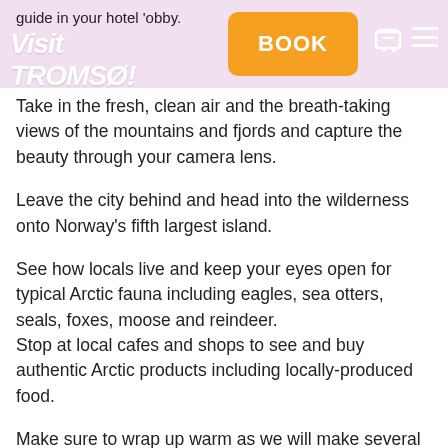guide in your hotel 'obby.
[Figure (logo): Visit Tromsø logo in white italic bold text on pink/lavender background]
[Figure (other): Orange BOOK button with white text, and cart/menu icons in white on pink background]
Take in the fresh, clean air and the breath-taking views of the mountains and fjords and capture the beauty through your camera lens.
Leave the city behind and head into the wilderness onto Norway's fifth largest island.
See how locals live and keep your eyes open for typical Arctic fauna including eagles, sea otters, seals, foxes, moose and reindeer.
Stop at local cafes and shops to see and buy authentic Arctic products including locally-produced food.
Make sure to wrap up warm as we will make several photo stops to admire the views of the mountains and fjords.
Have lunch at Sommarøy, where you can see stunning white